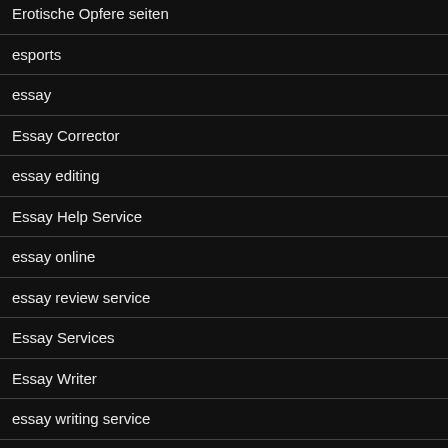Erotische Opfere seiten
esports
essay
Essay Corrector
essay editing
Essay Help Service
essay online
essay review service
Essay Services
Essay Writer
essay writing service
essay writing services
EssayNews